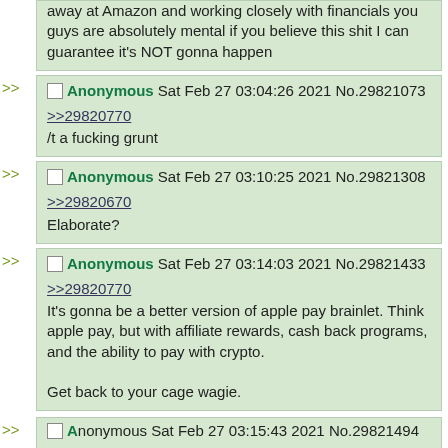away at Amazon and working closely with financials you guys are absolutely mental if you believe this shit I can guarantee it's NOT gonna happen
Anonymous Sat Feb 27 03:04:26 2021 No.29821073
>>29820770
/t a fucking grunt
Anonymous Sat Feb 27 03:10:25 2021 No.29821308
>>29820670
Elaborate?
Anonymous Sat Feb 27 03:14:03 2021 No.29821433
>>29820770
It's gonna be a better version of apple pay brainlet. Think apple pay, but with affiliate rewards, cash back programs, and the ability to pay with crypto.

Get back to your cage wagie.
Anonymous Sat Feb 27 03:15:43 2021 No.29821494